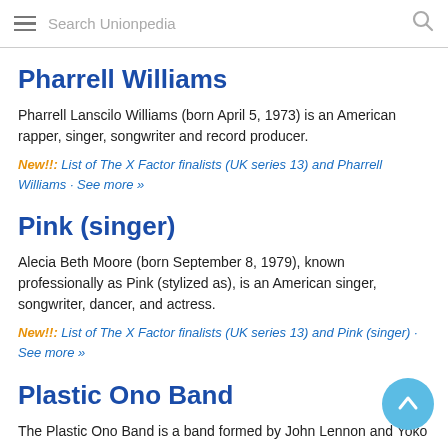Search Unionpedia
Pharrell Williams
Pharrell Lanscilo Williams (born April 5, 1973) is an American rapper, singer, songwriter and record producer.
New!!: List of The X Factor finalists (UK series 13) and Pharrell Williams · See more »
Pink (singer)
Alecia Beth Moore (born September 8, 1979), known professionally as Pink (stylized as), is an American singer, songwriter, dancer, and actress.
New!!: List of The X Factor finalists (UK series 13) and Pink (singer) · See more »
Plastic Ono Band
The Plastic Ono Band is a band formed by John Lennon and Yoko